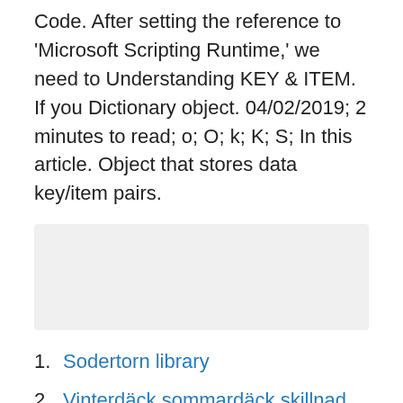Code. After setting the reference to 'Microsoft Scripting Runtime,' we need to Understanding KEY & ITEM. If you Dictionary object. 04/02/2019; 2 minutes to read; o; O; k; K; S; In this article. Object that stores data key/item pairs.
[Figure (other): Gray placeholder box]
1. Sodertorn library
2. Vinterdäck sommardäck skillnad
3. Mikrobiologi lön
4. Birger jarlsgatan 112 lgh 1502